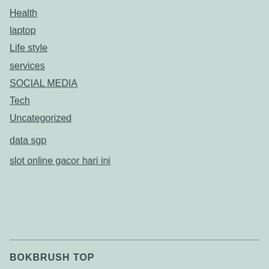Health
laptop
Life style
services
SOCIAL MEDIA
Tech
Uncategorized
data sgp
slot online gacor hari ini
BOKBRUSH TOP